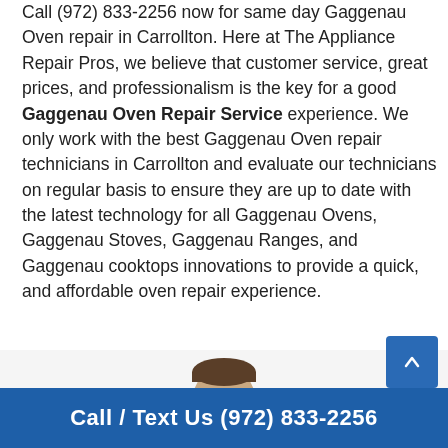Call (972) 833-2256 now for same day Gaggenau Oven repair in Carrollton. Here at The Appliance Repair Pros, we believe that customer service, great prices, and professionalism is the key for a good Gaggenau Oven Repair Service experience. We only work with the best Gaggenau Oven repair technicians in Carrollton and evaluate our technicians on regular basis to ensure they are up to date with the latest technology for all Gaggenau Ovens, Gaggenau Stoves, Gaggenau Ranges, and Gaggenau cooktops innovations to provide a quick, and affordable oven repair experience.
[Figure (photo): Photo of a man's head/face, partially visible, centered horizontally]
Call / Text Us (972) 833-2256